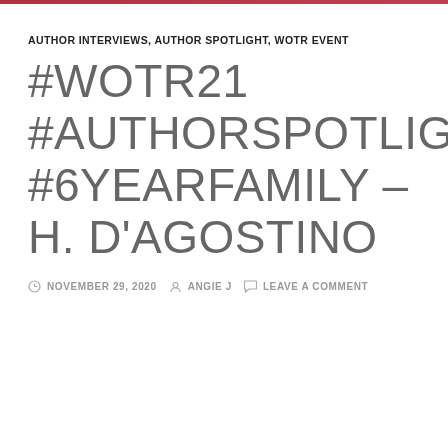AUTHOR INTERVIEWS, AUTHOR SPOTLIGHT, WOTR EVENT
#WOTR21 #AUTHORSPOTLIGHT #6YEARFAMILY – H. D'AGOSTINO
NOVEMBER 29, 2020  ANGIE J  LEAVE A COMMENT